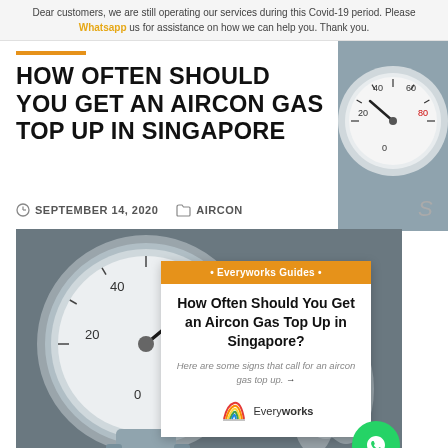Dear customers, we are still operating our services during this Covid-19 period. Please Whatsapp us for assistance on how we can help you. Thank you.
HOW OFTEN SHOULD YOU GET AN AIRCON GAS TOP UP IN SINGAPORE
SEPTEMBER 14, 2020   AIRCON
[Figure (photo): A pressure gauge on a metal surface with steam/smoke visible, overlaid with an Everyworks Guides card titled 'How Often Should You Get an Aircon Gas Top Up in Singapore?' with subtitle 'Here are some signs that call for an aircon gas top up.' and Everyworks logo]